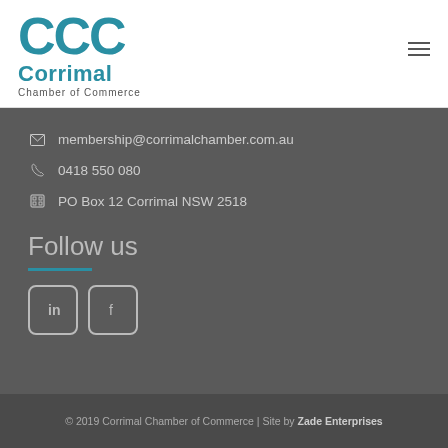[Figure (logo): CCC Corrimal Chamber of Commerce logo with teal CCC letters and teal 'Corrimal' text]
membership@corrimalchamber.com.au
0418 550 080
PO Box 12 Corrimal NSW 2518
Follow us
[Figure (illustration): LinkedIn icon in rounded rectangle border]
[Figure (illustration): Facebook icon in rounded rectangle border]
© 2019 Corrimal Chamber of Commerce | Site by Zade Enterprises